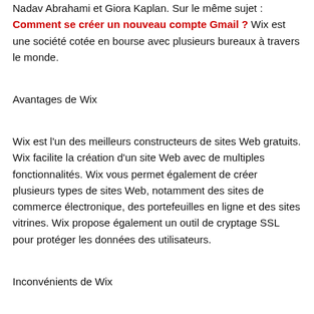Nadav Abrahami et Giora Kaplan. Sur le même sujet : Comment se créer un nouveau compte Gmail ? Wix est une société cotée en bourse avec plusieurs bureaux à travers le monde.
Avantages de Wix
Wix est l'un des meilleurs constructeurs de sites Web gratuits. Wix facilite la création d'un site Web avec de multiples fonctionnalités. Wix vous permet également de créer plusieurs types de sites Web, notamment des sites de commerce électronique, des portefeuilles en ligne et des sites vitrines. Wix propose également un outil de cryptage SSL pour protéger les données des utilisateurs.
Inconvénients de Wix
Bien que Wix soit l'un des meilleurs créateurs de sites Web gratuits, il présente quelques inconvénients. Wix n'autorise pas la